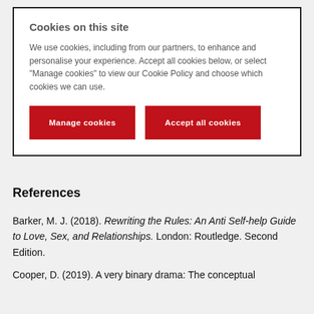Cookies on this site
We use cookies, including from our partners, to enhance and personalise your experience. Accept all cookies below, or select "Manage cookies" to view our Cookie Policy and choose which cookies we can use.
Manage cookies | Accept all cookies
References
Barker, M. J. (2018). Rewriting the Rules: An Anti Self-help Guide to Love, Sex, and Relationships. London: Routledge. Second Edition.
Cooper, D. (2019). A very binary drama: The conceptual